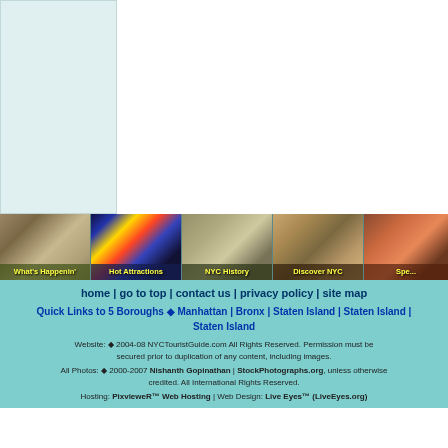[Figure (screenshot): Left sidebar panel with teal/light blue background, appears to be a navigation or ad area]
[Figure (photo): Strip of 5 navigation photos: dancers (What's Happenin'), Times Square (Hot Attractions), colonial soldiers on horseback (NYC History), Asian building facade (Discover NYC), and partial colorful poster]
home | go to top | contact us | privacy policy | site map
Quick Links to 5 Boroughs ◆ Manhattan | Bronx | Staten Island | Staten Island | Staten Island
Website: ◆ 2004-08 NYCTouristGuide.com All Rights Reserved. Permission must be secured prior to duplication of any content, including images.
All Photos: ◆ 2000-2007 Nishanth Gopinathan | StockPhotographs.org, unless otherwise credited. All International Rights Reserved.
Hosting: PixvieweR™ Web Hosting | Web Design: Live Eyes™ (LiveEyes.org)